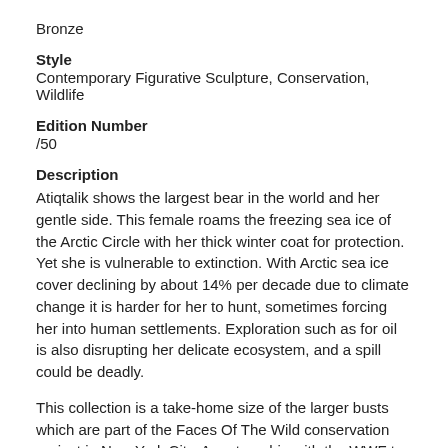Bronze
Style
Contemporary Figurative Sculpture, Conservation, Wildlife
Edition Number
/50
Description
Atiqtalik shows the largest bear in the world and her gentle side. This female roams the freezing sea ice of the Arctic Circle with her thick winter coat for protection. Yet she is vulnerable to extinction. With Arctic sea ice cover declining by about 14% per decade due to climate change it is harder for her to hunt, sometimes forcing her into human settlements. Exploration such as for oil is also disrupting her delicate ecosystem, and a spill could be deadly.
This collection is a take-home size of the larger busts which are part of the Faces Of The Wild conservation project in New York City. A partnership with the WWF to bring awareness for threatened species onto the streets of NYC.